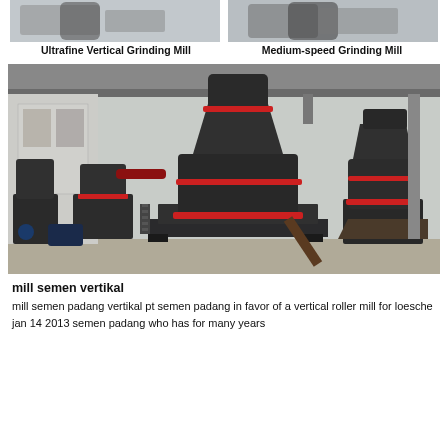[Figure (photo): Two small product photos side by side showing grinding mill machines]
Ultrafine Vertical Grinding Mill
Medium-speed Grinding Mill
[Figure (photo): Large industrial grinding mill machines in a factory/warehouse setting, dark colored machines with red rings]
mill semen vertikal
mill semen padang vertikal pt semen padang in favor of a vertical roller mill for loesche jan 14 2013 semen padang who has for many years